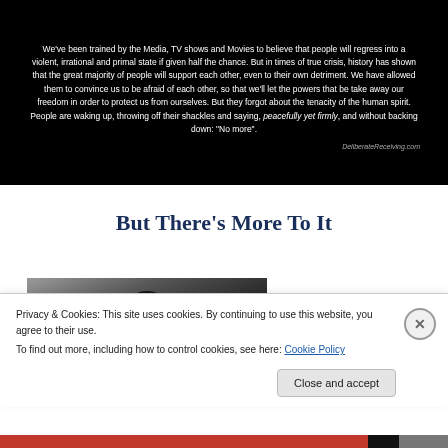[Figure (photo): Black background image with white centered text quote about human spirit and freedom. Source attribution: DeliberateReceiving.com]
But There's More To It
[Figure (photo): Black and white portrait photo, partial view of a person's head]
Privacy & Cookies: This site uses cookies. By continuing to use this website, you agree to their use.
To find out more, including how to control cookies, see here: Cookie Policy